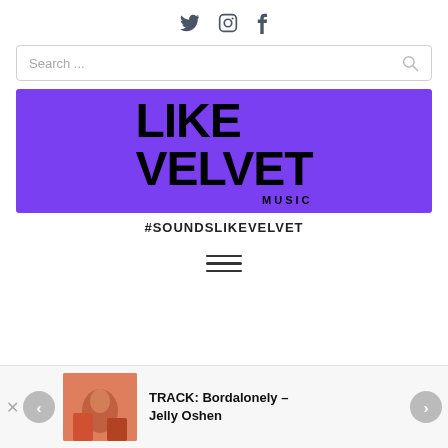Social icons: Twitter, Instagram, Facebook
Search ...
[Figure (logo): Like Velvet Music logo on purple background]
#SOUNDSLIKEVELVET
[Figure (other): Hamburger menu icon (three horizontal lines)]
TRACK: Bordalonely – Jelly Oshen